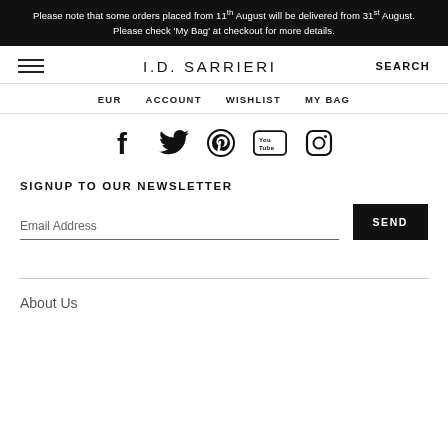Please note that some orders placed from 11th August will be delivered from 31st August. Please check 'My Bag' at checkout for more details.
I.D. SARRIERI
EUR  ACCOUNT  WISHLIST  MY BAG
[Figure (infographic): Social media icons: Facebook, Twitter, Pinterest, YouTube, Instagram]
SIGNUP TO OUR NEWSLETTER
Email Address
SEND
About Us